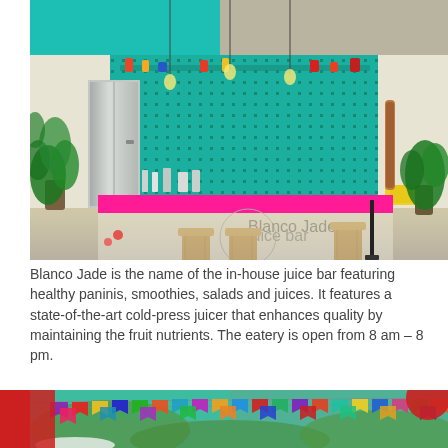[Figure (photo): Interior photo of Blanco Jade juice bar with teal pegboard back wall, hot pink counter, wooden bar stools, hanging pendant lights, tropical plants on both sides, and stainless steel refrigerator on the left.]
Blanco Jade is the name of the in-house juice bar featuring healthy paninis, smoothies, salads and juices. It features a state-of-the-art cold-press juicer that enhances quality by maintaining the fruit nutrients. The eatery is open from 8 am – 8 pm.
[Figure (photo): Outdoor area with colorful papel picado (decorative cut paper flags) in various colors strung overhead, with tropical trees and an umbrella visible below, teal ceiling and red circle decoration visible.]